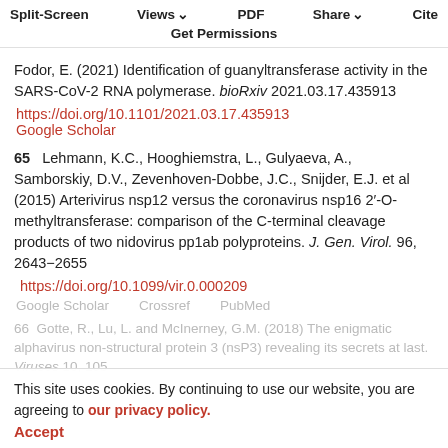Split-Screen | Views | PDF | Share | Cite | Get Permissions
64 ... Fodor, E. (2021) Identification of guanyltransferase activity in the SARS-CoV-2 RNA polymerase. bioRxiv 2021.03.17.435913
https://doi.org/10.1101/2021.03.17.435913
Google Scholar
65 Lehmann, K.C., Hooghiemstra, L., Gulyaeva, A., Samborskiy, D.V., Zevenhoven-Dobbe, J.C., Snijder, E.J. et al (2015) Arterivirus nsp12 versus the coronavirus nsp16 2'-O-methyltransferase: comparison of the C-terminal cleavage products of two nidovirus pp1ab polyproteins. J. Gen. Virol. 96, 2643−2655
https://doi.org/10.1099/vir.0.000209
Google Scholar    Crossref    PubMed
66 Gotte, R., Lu, L. and McInerney, G.M. (2018) The enigmatic alphavirus non-structural protein 3 (nsP3) revealing its secrets at last. Viruses 10, 105
This site uses cookies. By continuing to use our website, you are agreeing to our privacy policy.
Accept